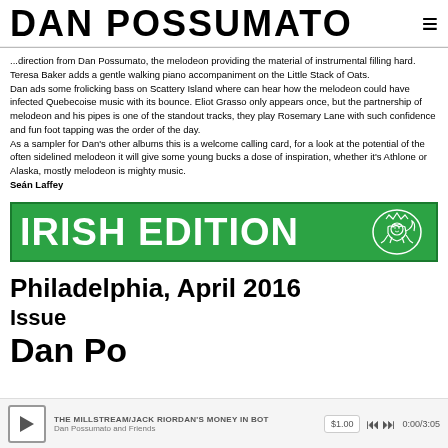DAN POSSUMATO ≡
...direction from Dan Possumato, the melodeon providing the material of instrumental filling hard. Teresa Baker adds a gentle walking piano accompaniment on the Little Stack of Oats. Dan ads some frolicking bass on Scattery Island where can hear how the melodeon could have infected Quebecoise music with its bounce. Eliot Grasso only appears once, but the partnership of melodeon and his pipes is one of the standout tracks, they play Rosemary Lane with such confidence and fun foot tapping was the order of the day.
As a sampler for Dan's other albums this is a welcome calling card, for a look at the potential of the often sidelined melodeon it will give some young bucks a dose of inspiration, whether it's Athlone or Alaska, mostly melodeon is mighty music.
Seán Laffey
[Figure (logo): Irish Edition newspaper banner logo in green with white text and a lion illustration]
Philadelphia, April 2016
Issue
Dan Possumato
THE MILLSTREAM/JACK RIORDAN'S MONEY IN BOT | Dan Possumato and Friends | $1.00 | 0:00/3:05